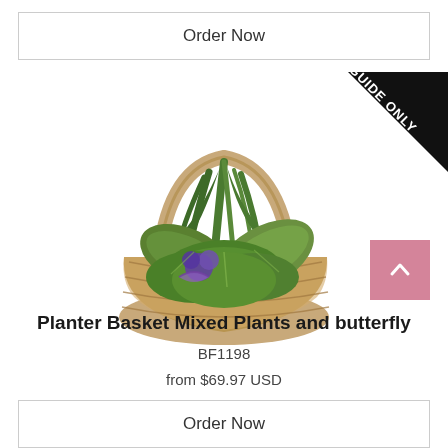Order Now
[Figure (photo): Planter basket filled with mixed green plants including a tall sansevieria, dieffenbachia, and other foliage plants, with a small purple flower accent and a natural woven basket handle. A 'GUIDE ONLY' diagonal banner badge is overlaid in the top-right corner.]
Planter Basket Mixed Plants and butterfly
BF1198
from $69.97 USD
Order Now